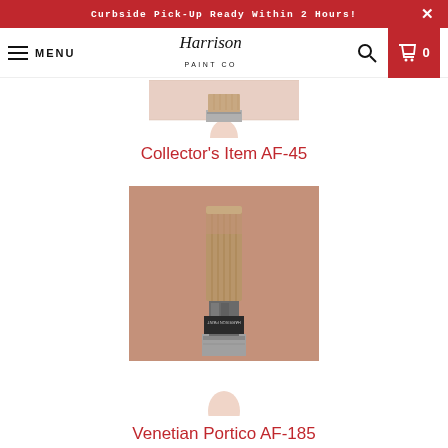Curbside Pick-Up Ready Within 2 Hours!
[Figure (screenshot): Harrison Paint Co navigation bar with hamburger menu, logo, search icon, and cart showing 0 items]
[Figure (photo): Paint brush with pink/blush paint swatch labeled Collector's Item AF-45 (partially visible at top)]
Collector's Item AF-45
[Figure (photo): Paint brush on warm tan/clay paint swatch for Benjamin Moore Venetian Portico AF-185]
Venetian Portico AF-185